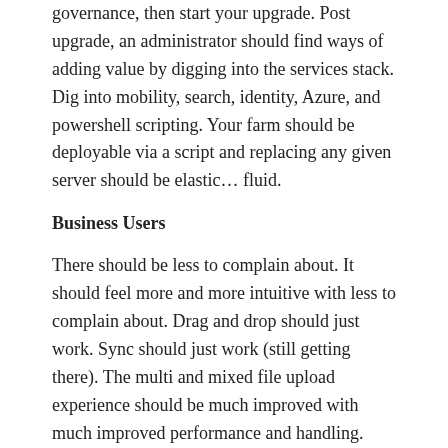governance, then start your upgrade. Post upgrade, an administrator should find ways of adding value by digging into the services stack. Dig into mobility, search, identity, Azure, and powershell scripting. Your farm should be deployable via a script and replacing any given server should be elastic… fluid.
Business Users
There should be less to complain about. It should feel more and more intuitive with less to complain about. Drag and drop should just work. Sync should just work (still getting there). The multi and mixed file upload experience should be much improved with much improved performance and handling. Cross site navigation, cross The UI for working with lists should work better. Mobile is somewhat better (still not where it should be, definitely add the Responsive UI pack, but you don't have to wait long for even more